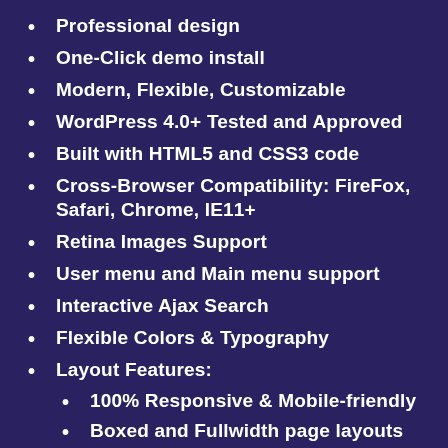Professional design
One-Click demo install
Modern, Flexible, Customizable
WordPress 4.0+ Tested and Approved
Built with HTML5 and CSS3 code
Cross-Browser Compatibility: FireFox, Safari, Chrome, IE11+
Retina Images Support
User menu and Main menu support
Interactive Ajax Search
Flexible Colors & Typography
Layout Features:
100% Responsive & Mobile-friendly
Boxed and Fullwidth page layouts